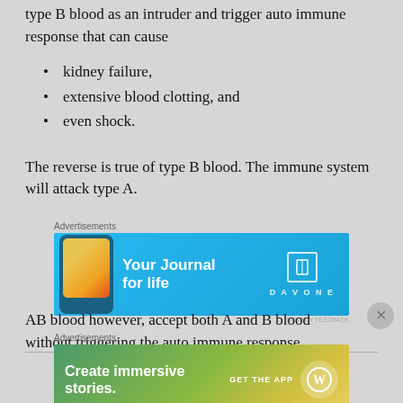type B blood as an intruder and trigger auto immune response that can cause
kidney failure,
extensive blood clotting, and
even shock.
The reverse is true of type B blood. The immune system will attack type A.
[Figure (other): Advertisement banner for DayOne journal app showing phone with colorful imagery and text 'Your Journal for life']
AB blood however, accept both A and B blood without triggering the auto immune response
[Figure (other): Advertisement banner for WordPress app showing 'Create immersive stories. GET THE APP' with WordPress logo]